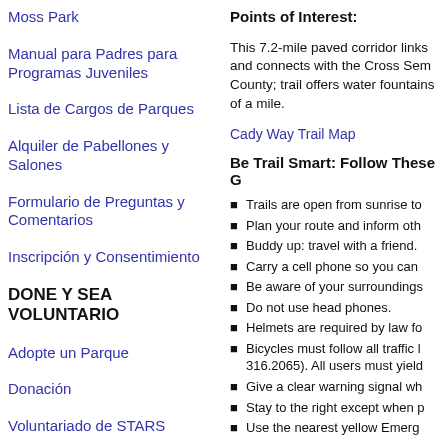Moss Park
Manual para Padres para Programas Juveniles
Lista de Cargos de Parques
Alquiler de Pabellones y Salones
Formulario de Preguntas y Comentarios
Inscripción y Consentimiento
DONE Y SEA VOLUNTARIO
Adopte un Parque
Donación
Voluntariado de STARS
Points of Interest:
This 7.2-mile paved corridor links and connects with the Cross Sem County; trail offers water fountains of a mile.
Cady Way Trail Map
Be Trail Smart: Follow These G
Trails are open from sunrise to
Plan your route and inform oth
Buddy up: travel with a friend.
Carry a cell phone so you can
Be aware of your surroundings
Do not use head phones.
Helmets are required by law fo
Bicycles must follow all traffic l 316.2065). All users must yield
Give a clear warning signal wh
Stay to the right except when p
Use the nearest yellow Emerg